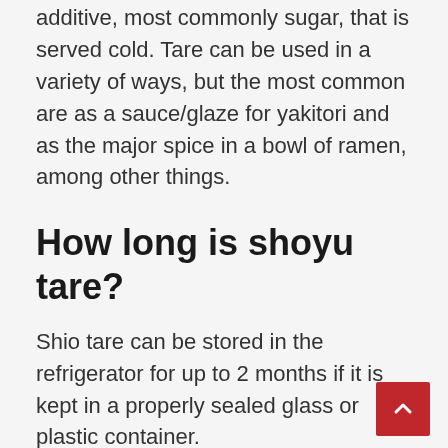additive, most commonly sugar, that is served cold. Tare can be used in a variety of ways, but the most common are as a sauce/glaze for yakitori and as the major spice in a bowl of ramen, among other things.
How long is shoyu tare?
Shio tare can be stored in the refrigerator for up to 2 months if it is kept in a properly sealed glass or plastic container.
What is Nori in ramen?
Known as nori or kim, sheets of umami-rich seaweed can be sliced into small strips with